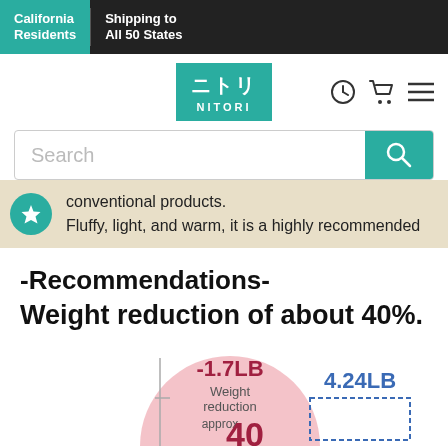California Residents | Shipping to All 50 States
[Figure (logo): Nitori logo with Japanese characters and NITORI text on teal background]
Search
conventional products.
Fluffy, light, and warm, it is a highly recommended
-Recommendations-
Weight reduction of about 40%.
[Figure (infographic): Pink circle showing -1.7LB Weight reduction approx 40%, next to 4.24LB label with blue bar chart element]